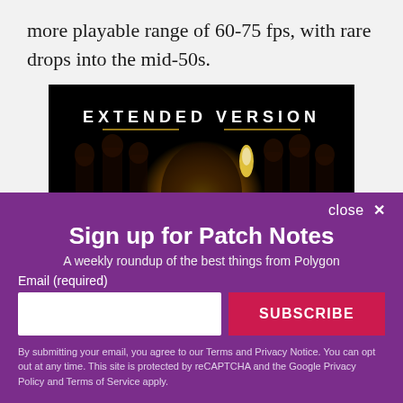more playable range of 60-75 fps, with rare drops into the mid-50s.
[Figure (photo): Movie promotional image with black background showing 'EXTENDED VERSION' text in white and characters from what appears to be Jurassic World with a glowing amber dinosaur emblem in the center]
close ✕
Sign up for Patch Notes
A weekly roundup of the best things from Polygon
Email (required)
SUBSCRIBE
By submitting your email, you agree to our Terms and Privacy Notice. You can opt out at any time. This site is protected by reCAPTCHA and the Google Privacy Policy and Terms of Service apply.